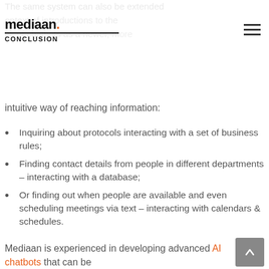The same system can also be extended to the context of introductions to the think of chatbots as a newer, more intuitive way of reaching information:
mediaan. CONCLUSION
Inquiring about protocols interacting with a set of business rules;
Finding contact details from people in different departments – interacting with a database;
Or finding out when people are available and even scheduling meetings via text – interacting with calendars & schedules.
Mediaan is experienced in developing advanced AI chatbots that can be